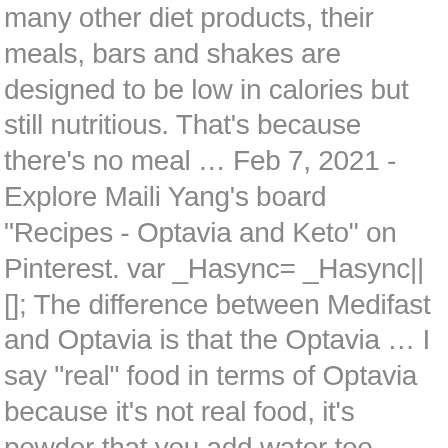many other diet products, their meals, bars and shakes are designed to be low in calories but still nutritious. That's because there's no meal … Feb 7, 2021 - Explore Maili Yang's board "Recipes - Optavia and Keto" on Pinterest. var _Hasync= _Hasync|| []; The difference between Medifast and Optavia is that the Optavia … I say "real" food in terms of Optavia because it's not real food, it's powder that you add water too. Ratings reflect scores of 1 to 5 in seven categories. From there, I will go back into my well-formulated low-carb ketogenic diet. How did you transition? Optavia is a more structured plan in which you're mentored by an Optavia "health coach" who … But the food is honestly terrible and I don't see this being sustainable, as it doesn't really teach me any healthy food habits for when I transition back to "real" food. You're more likely to have heard of the diet by its previous name, Take Shape for Life, which